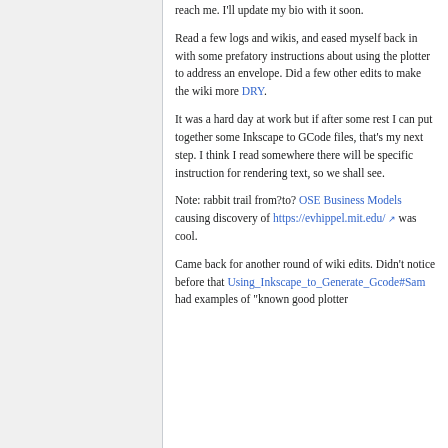reach me. I'll update my bio with it soon.
Read a few logs and wikis, and eased myself back in with some prefatory instructions about using the plotter to address an envelope. Did a few other edits to make the wiki more DRY.
It was a hard day at work but if after some rest I can put together some Inkscape to GCode files, that's my next step. I think I read somewhere there will be specific instruction for rendering text, so we shall see.
Note: rabbit trail from?to? OSE Business Models causing discovery of https://evhippel.mit.edu/ was cool.
Came back for another round of wiki edits. Didn't notice before that Using_Inkscape_to_Generate_Gcode#Sam had examples of "known good plotter